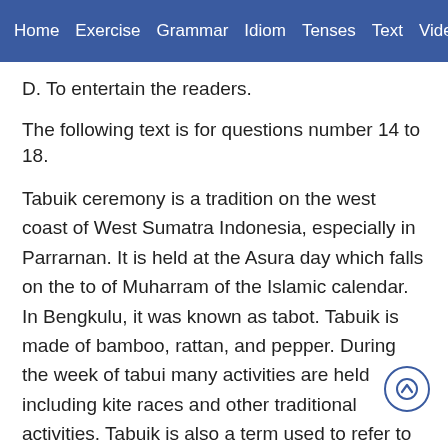Home  Exercise  Grammar  Idiom  Tenses  Text  Video
D. To entertain the readers.
The following text is for questions number 14 to 18.
Tabuik ceremony is a tradition on the west coast of West Sumatra Indonesia, especially in Parrarnan. It is held at the Asura day which falls on the to of Muharram of the Islamic calendar. In Bengkulu, it was known as tabot. Tabuik is made of bamboo, rattan, and pepper. During the week of tabui many activities are held including kite races and other traditional activities. Tabuik is also a term used to refer to the high funeral biers carried around during the remembrance procession. On the appointed day, all participants of the ceremony gather in the center of the city. All government officials also attended the colossal